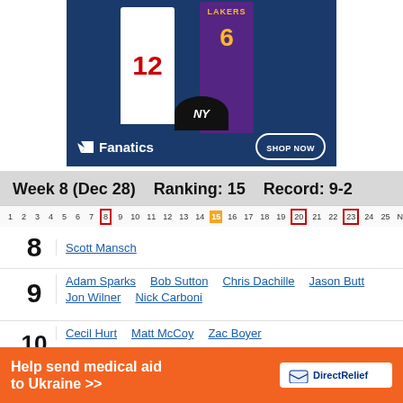[Figure (photo): Fanatics advertisement banner showing sports jerseys (number 12 white jersey, Lakers number 6 purple jersey) and a black NY Yankees cap on a dark blue background, with Fanatics logo and Shop Now button]
Week 8 (Dec 28)    Ranking: 15    Record: 9-2
1 2 3 4 5 6 7 8 9 10 11 12 13 14 15 16 17 18 19 20 21 22 23 24 25 NR
8  Scott Mansch
9  Adam Sparks  Bob Sutton  Chris Dachille  Jason Butt  Jon Wilner  Nick Carboni
10  Cecil Hurt  Matt McCoy  Zac Boyer
[Figure (photo): Direct Relief advertisement banner: Help send medical aid to Ukraine >> with Direct Relief logo on orange background]